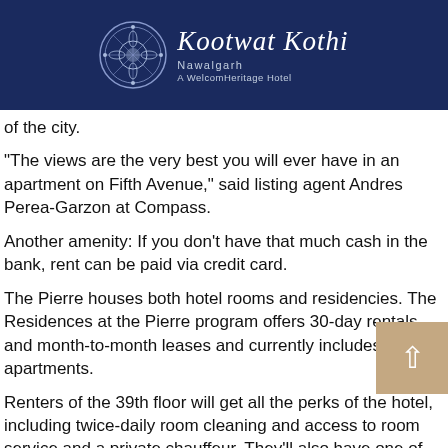Kootwat Kothi Nawalgarh A WelcomHeritage Hotel
of the city.
“The views are the very best you will ever have in an apartment on Fifth Avenue,” said listing agent Andres Perea-Garzon at Compass.
Another amenity: If you don’t have that much cash in the bank, rent can be paid via credit card.
The Pierre houses both hotel rooms and residencies. The Residences at the Pierre program offers 30-day rentals and month-to-month leases and currently includes 14 apartments.
Renters of the 39th floor will get all the perks of the hotel, including twice-daily room cleaning and access to room service and a private chauffeur. They’ll also have one of the hotel’s five elevators dedicated solely for their use — and a full-time operator.
Perea-Garzon said there’s been interest in the smaller rentals, but no recent bites on the 39th floor space yet. “My guess is the